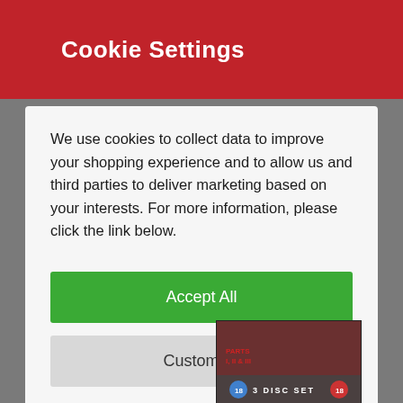Cookie Settings
We use cookies to collect data to improve your shopping experience and to allow us and third parties to deliver marketing based on your interests. For more information, please click the link below.
Accept All
Customise
More Information